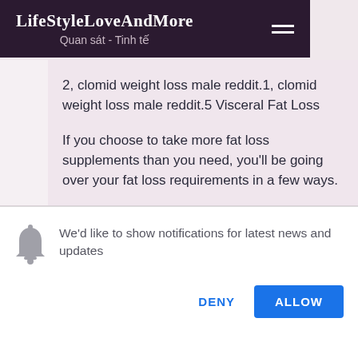LifeStyleLoveAndMore — Quan sát - Tinh tế
2, clomid weight loss male reddit.1, clomid weight loss male reddit.5 Visceral Fat Loss
If you choose to take more fat loss supplements than you need, you'll be going over your fat loss requirements in a few ways.
The first one is the lack of a fat burning
We'd like to show notifications for latest news and updates